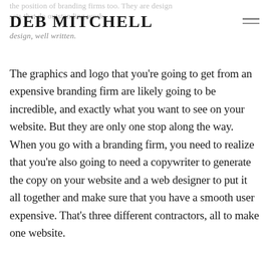the position of branding firms too. They are design sets that do outstanding work.
DEB MITCHELL
design, well written.
The graphics and logo that you're going to get from an expensive branding firm are likely going to be incredible, and exactly what you want to see on your website. But they are only one stop along the way. When you go with a branding firm, you need to realize that you're also going to need a copywriter to generate the copy on your website and a web designer to put it all together and make sure that you have a smooth user expensive. That's three different contractors, all to make one website.